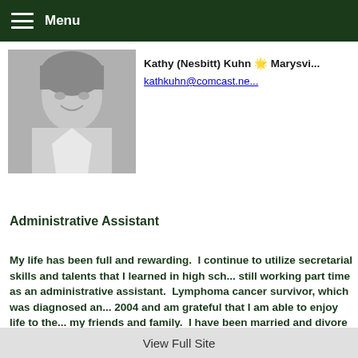Menu
[Figure (photo): Black and white photo of a smiling woman]
Kathy (Nesbitt) Kuhn 🌟 Marysvi... kathkuhn@comcast.ne...
Administrative Assistant
My life has been full and rewarding.  I continue to utilize secretarial skills and talents that I learned in high school, still working part time as an administrative assistant.  Lymphoma cancer survivor, which was diagnosed and treated in 2004 and am grateful that I am able to enjoy life to the fullest with my friends and family.  I have been married and divorced twice and am single with 2 grown children and 4 grandchildren.  I enjoy traveling, gardening and spending time with friends a...
View Full Site